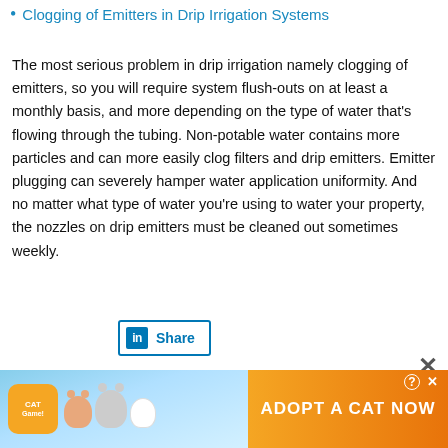Clogging of Emitters in Drip Irrigation Systems
The most serious problem in drip irrigation namely clogging of emitters, so you will require system flush-outs on at least a monthly basis, and more depending on the type of water that's flowing through the tubing. Non-potable water contains more particles and can more easily clog filters and drip emitters. Emitter plugging can severely hamper water application uniformity. And no matter what type of water you're using to water your property, the nozzles on drip emitters must be cleaned out sometimes weekly.
[Figure (other): LinkedIn Share button]
[Figure (other): Twitter Tweet button]
[Figure (other): Advertisement banner for Cat Game - Adopt a Cat Now]